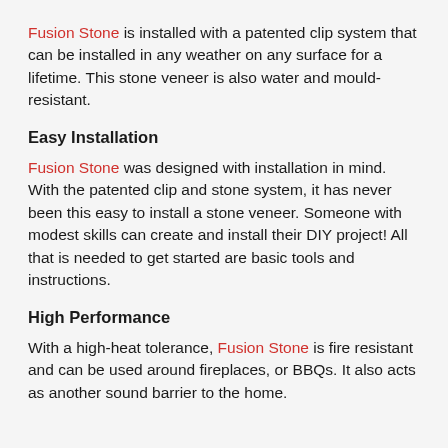Fusion Stone is installed with a patented clip system that can be installed in any weather on any surface for a lifetime. This stone veneer is also water and mould-resistant.
Easy Installation
Fusion Stone was designed with installation in mind. With the patented clip and stone system, it has never been this easy to install a stone veneer. Someone with modest skills can create and install their DIY project! All that is needed to get started are basic tools and instructions.
High Performance
With a high-heat tolerance, Fusion Stone is fire resistant and can be used around fireplaces, or BBQs. It also acts as another sound barrier to the home.